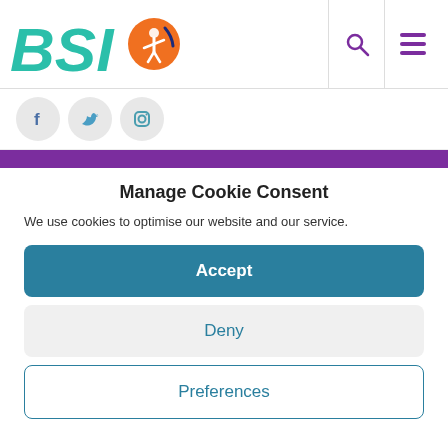[Figure (logo): BSI logo with teal stylized letters and orange circle with figure icon, plus purple navigation icons for search and hamburger menu]
[Figure (infographic): Three social media icon buttons: Facebook (f), Twitter (bird), Instagram (camera) in light grey circles]
Manage Cookie Consent
We use cookies to optimise our website and our service.
Accept
Deny
Preferences